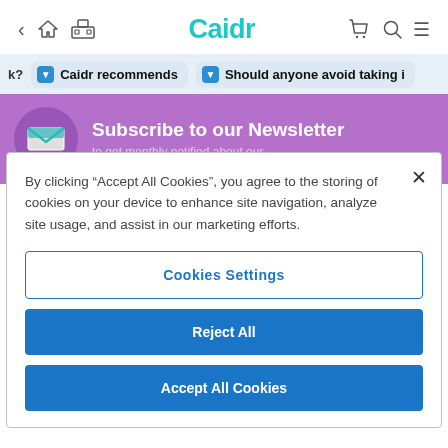< 🏠 🏛 Caidr 🛍 🔍 ≡
k?  ▼ Caidr recommends  ▼ Should anyone avoid taking i
[Figure (screenshot): Purple newsletter subscription banner with envelope icon and text 'Subscribe to our Newsletter' and 'to get monthly notified about our']
By clicking "Accept All Cookies", you agree to the storing of cookies on your device to enhance site navigation, analyze site usage, and assist in our marketing efforts.
Cookies Settings
Reject All
Accept All Cookies